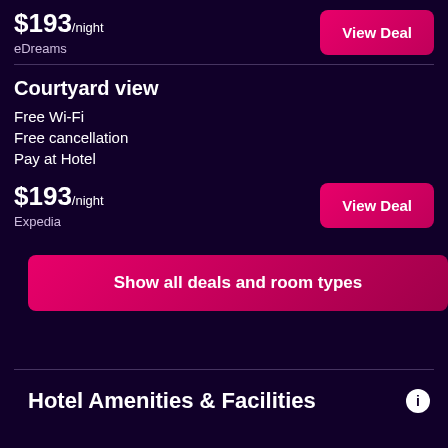$193/night
eDreams
View Deal
Courtyard view
Free Wi-Fi
Free cancellation
Pay at Hotel
$193/night
Expedia
View Deal
Show all deals and room types
Hotel Amenities & Facilities